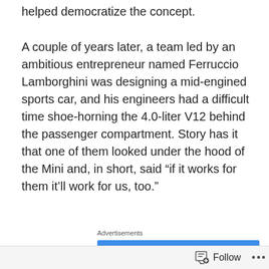helped democratize the concept.
A couple of years later, a team led by an ambitious entrepreneur named Ferruccio Lamborghini was designing a mid-engined sports car, and his engineers had a difficult time shoe-horning the 4.0-liter V12 behind the passenger compartment. Story has it that one of them looked under the hood of the Mini and, in short, said “if it works for them it’ll work for us, too.”
Advertisements
[Figure (other): Advertisement banner for Pressable WordPress hosting service. Blue background with white bold text: 'When your WordPress site needs speed, you need' and Pressable logo with P icon.]
Follow ···